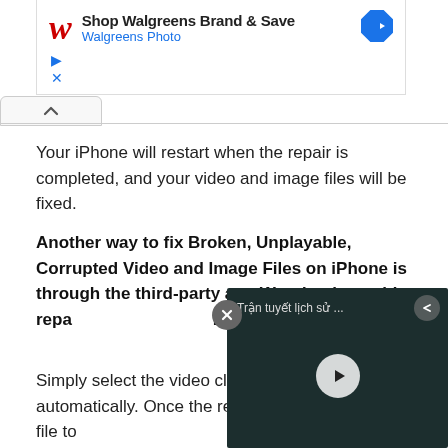[Figure (screenshot): Walgreens advertisement banner showing Walgreens W logo, 'Shop Walgreens Brand & Save' text, 'Walgreens Photo' subtitle, and a blue navigation arrow icon]
Your iPhone will restart when the repair is completed, and your video and image files will be fixed.
Another way to fix Broken, Unplayable, Corrupted Video and Image Files on iPhone is through the third-party app Wondershare video repair. Download and install it on your iPhone.
Simply select the video click on the "Repair" but automatically. Once the repair is done, preview the file to
[Figure (screenshot): Floating video player overlay showing Vietnamese text 'Trận tuyết lịch sử ...' with a play button centered on a dark video frame]